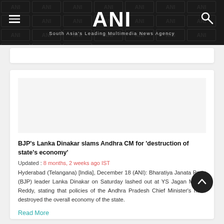ANI
South Asia's Leading Multimedia News Agency
BJP's Lanka Dinakar slams Andhra CM for 'destruction of state's economy'
Updated : 8 months, 2 weeks ago IST
Hyderabad (Telangana) [India], December 18 (ANI): Bharatiya Janata Party (BJP) leader Lanka Dinakar on Saturday lashed out at YS Jagan Mohan Reddy, stating that policies of the Andhra Pradesh Chief Minister's have destroyed the overall economy of the state.
Read More